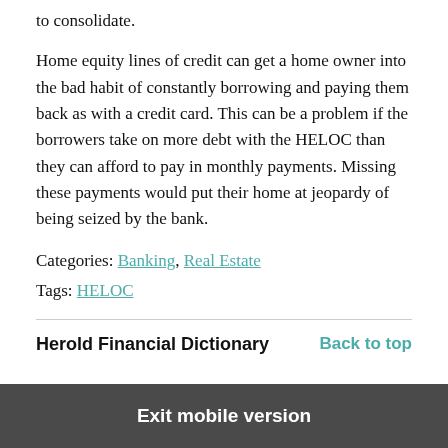to consolidate.
Home equity lines of credit can get a home owner into the bad habit of constantly borrowing and paying them back as with a credit card. This can be a problem if the borrowers take on more debt with the HELOC than they can afford to pay in monthly payments. Missing these payments would put their home at jeopardy of being seized by the bank.
Categories: Banking, Real Estate
Tags: HELOC
Herold Financial Dictionary
Back to top
Exit mobile version